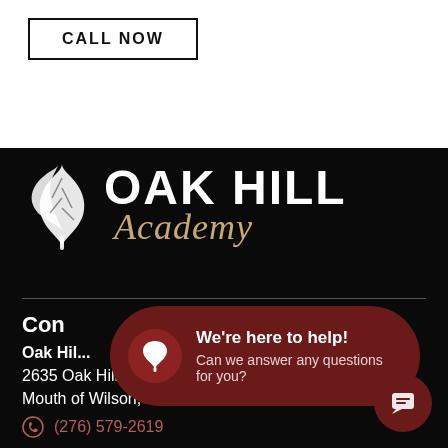CALL NOW
[Figure (logo): Oak Hill Academy logo with white leaf/oak design and text 'OAK HILL Academy' on black background]
Con...
Oak Hil...
2635 Oak Hill Rd
Mouth of Wilson, VA 24363
(276) 579-2619
[Figure (infographic): Dark red rounded chat bubble overlay with oak leaf icon, heading 'We're here to help!' and subtext 'Can we answer any questions for you?']
[Figure (other): Dark red circular chat/message button in bottom right corner]